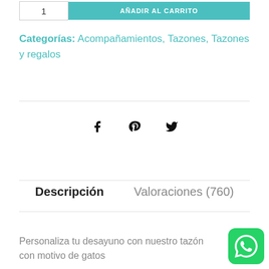Categorías: Acompañamientos, Tazones, Tazones y regalos
Descripción   Valoraciones (760)
Personaliza tu desayuno con nuestro tazón con motivo de gatos